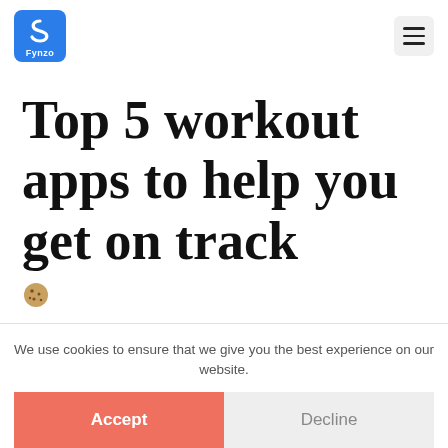[Figure (logo): Fynzo logo: blue square with white stylized S-like icon and 'Fynzo' text below]
[Figure (other): Hamburger menu icon (three horizontal lines) in a light grey rounded square]
Top 5 workout apps to help you get on track
[Figure (other): Small cookie/biscuit emoji icon]
We use cookies to ensure that we give you the best experience on our website.
Accept
Decline